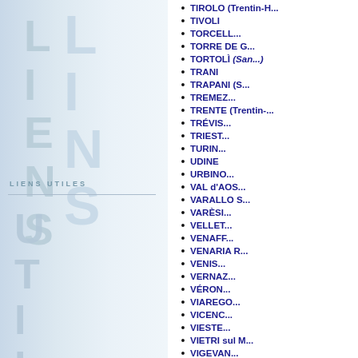TIROLO (Trentin-H...)
TIVOLI
TORCELL...
TORRE DE G...
TORTOLÌ (San...)
TRANI
TRAPANI (S...)
TREMEZ...
TRENTE (Trentin-...)
TRÉVIS...
TRIEST...
TURIN...
UDINE
URBING...
VAL d'AOS...
VARALLO S...
VARÈSI...
VELLET...
VENAFF...
VENARIA R...
VENIS...
VERNAZ...
VÉRON...
VIAREGO...
VICENC...
VIESTE...
VIETRI sul M...
VIGEVAN...